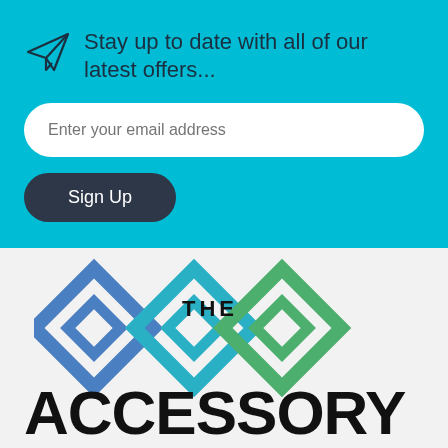Stay up to date with all of our latest offers...
Enter your email address
Sign Up
[Figure (logo): The Accessory logo with overlapping diamond shapes in blue, teal, and green, with text THE ACCESSORY]